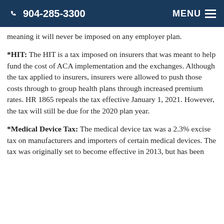904-285-3300  MENU
meaning it will never be imposed on any employer plan.
*HIT: The HIT is a tax imposed on insurers that was meant to help fund the cost of ACA implementation and the exchanges. Although the tax applied to insurers, insurers were allowed to push those costs through to group health plans through increased premium rates. HR 1865 repeals the tax effective January 1, 2021. However, the tax will still be due for the 2020 plan year.
*Medical Device Tax: The medical device tax was a 2.3% excise tax on manufacturers and importers of certain medical devices. The tax was originally set to become effective in 2013, but has been